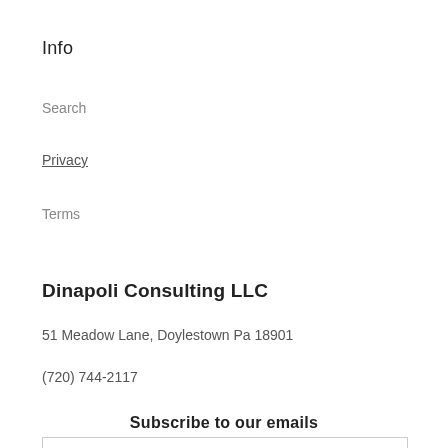Info
Search
Privacy
Terms
Dinapoli Consulting LLC
51 Meadow Lane, Doylestown Pa 18901
(720) 744-2117
Subscribe to our emails